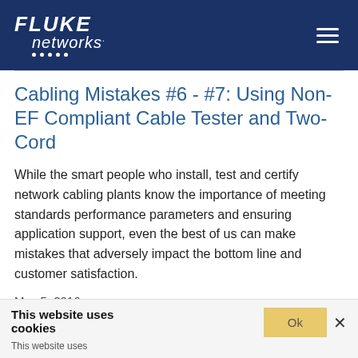[Figure (logo): Fluke Networks logo — white italic text on dark navy blue header bar with hamburger menu icon on the right]
Cabling Mistakes #6 - #7: Using Non-EF Compliant Cable Tester and Two-Cord
While the smart people who install, test and certify network cabling plants know the importance of meeting standards performance parameters and ensuring application support, even the best of us can make mistakes that adversely impact the bottom line and customer satisfaction.
May 5, 2016
C... Standard Subcommittee Work-Hand in Hand with IEEE
This website uses cookies
This website uses